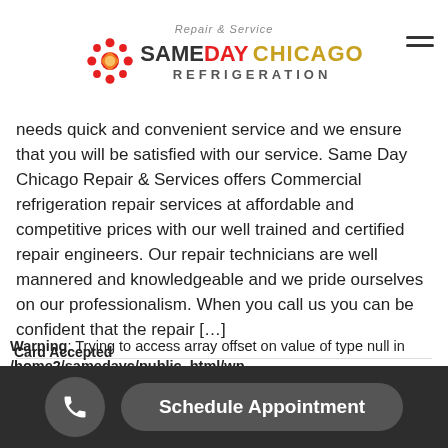Repair & Service SAMEDAY CHICAGO REFRIGERATION
needs quick and convenient service and we ensure that you will be satisfied with our service. Same Day Chicago Repair & Services offers Commercial refrigeration repair services at affordable and competitive prices with our well trained and certified repair engineers. Our repair technicians are well mannered and knowledgeable and we pride ourselves on our professionalism. When you call us you can be confident that the repair [...]
0  Read more
Warning: Trying to access array offset on value of type null in /home2/samedayc/public_html/wp-content/themes/betheme/sidebar-blog...line
Card Accepted
Schedule Appointment